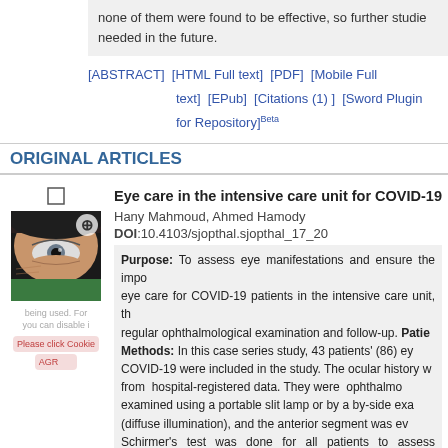none of them were found to be effective, so further studies are needed in the future.
[ABSTRACT] [HTML Full text] [PDF] [Mobile Full text] [EPub] [Citations (1)] [Sword Plugin for Repository]Beta
ORIGINAL ARTICLES
[Figure (photo): Close-up photograph of a human eye with a green mask visible at the bottom, with a zoom icon overlay.]
Eye care in the intensive care unit for COVID-19 p
Hany Mahmoud, Ahmed Hamody
DOI:10.4103/sjopthal.sjopthal_17_20
Purpose: To assess eye manifestations and ensure the importance of eye care for COVID-19 patients in the intensive care unit, through regular ophthalmological examination and follow-up. Patients and Methods: In this case series study, 43 patients' (86) eyes with COVID-19 were included in the study. The ocular history was retrieved from hospital-registered data. They were ophthalmologically examined using a portable slit lamp or by a by-side examination (diffuse illumination), and the anterior segment was evaluated. Schirmer's test was done for all patients to assess dryness. iCare® Pen™ Tonometer was used in all cases to measure intraocular pressure with full infection control measures. Results: Sixteen per cent of eyes were affected either by dryness due to exposure, infection (mucopurulent conjunctivitis), and subconjunctival hemorrhage with no apparent vision affection and func